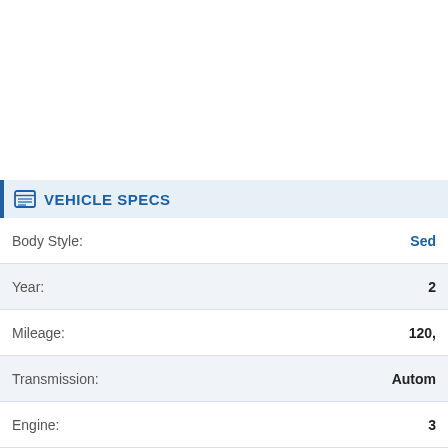VEHICLE SPECS
| Field | Value |
| --- | --- |
| Body Style: | Sed… |
| Year: | 2… |
| Mileage: | 120,… |
| Transmission: | Autom… |
| Engine: | 3… |
| Drivetrain: | FWD - Front Wheel D… |
| Color: | B… |
| Condition: | Excel… |